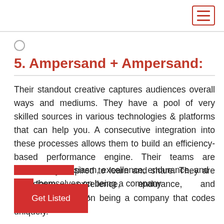≡
5. Ampersand + Ampersand:
Their standout creative captures audiences overall ways and mediums. They have a pool of very skilled sources in various technologies & platforms that can help you. A consecutive integration into these processes allows them to build an efficiency-based performance engine. Their teams are consistently inspired to learn and share. They are [dr]iven by enthusiasm, excellence, endurance, and pride themselves on being a company that codes uniquely.
Get Listed